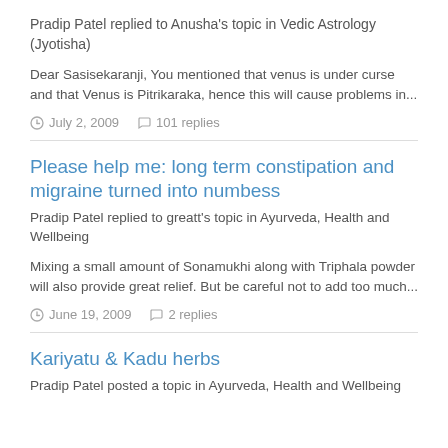Pradip Patel replied to Anusha's topic in Vedic Astrology (Jyotisha)
Dear Sasisekaranji, You mentioned that venus is under curse and that Venus is Pitrikaraka, hence this will cause problems in...
July 2, 2009   101 replies
Please help me: long term constipation and migraine turned into numbess
Pradip Patel replied to greatt's topic in Ayurveda, Health and Wellbeing
Mixing a small amount of Sonamukhi along with Triphala powder will also provide great relief. But be careful not to add too much...
June 19, 2009   2 replies
Kariyatu & Kadu herbs
Pradip Patel posted a topic in Ayurveda, Health and Wellbeing